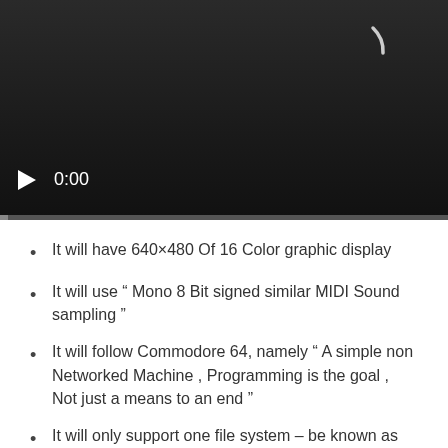[Figure (screenshot): Video player with dark background, a spinning/loading arc in the upper right, play button and 0:00 timestamp at the bottom left, and a progress bar at the very bottom.]
It will have 640×480 Of 16 Color graphic display
It will use “ Mono 8 Bit signed similar MIDI Sound sampling ”
It will follow Commodore 64, namely “ A simple non Networked Machine , Programming is the goal , Not just a means to an end ”
It will only support one file system – be known as “Red Sea”–